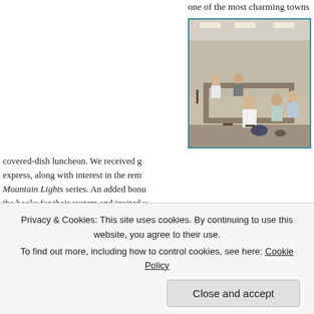one of the most charming towns we've
[Figure (photo): People seated around a large table in a meeting room or community hall, appears to be a covered-dish luncheon gathering.]
On Tuesday, Club at Tennessee. Journey the room Old Fort inspiring eating the covered-dish luncheon. We received g express, along with interest in the rem Mountain Lights series. An added bonu the books for their system and invited August which we're looking forward to.
Next up: a presentation at the Old Fo Thursday, May 11th at 5:30, where we Appalachian Journey series. Ashley Sa the library, stopped by our booth and t
Privacy & Cookies: This site uses cookies. By continuing to use this website, you agree to their use.
To find out more, including how to control cookies, see here: Cookie Policy
Close and accept